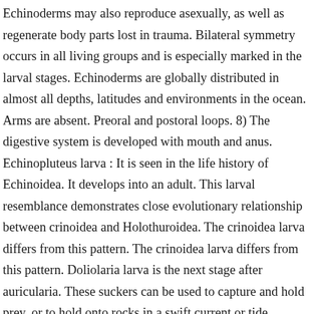Echinoderms may also reproduce asexually, as well as regenerate body parts lost in trauma. Bilateral symmetry occurs in all living groups and is especially marked in the larval stages. Echinoderms are globally distributed in almost all depths, latitudes and environments in the ocean. Arms are absent. Preoral and postoral loops. 8) The digestive system is developed with mouth and anus. Echinopluteus larva : It is seen in the life history of Echinoidea. It develops into an adult. This larval resemblance demonstrates close evolutionary relationship between crinoidea and Holothuroidea. The crinoidea larva differs from this pattern. The crinoidea larva differs from this pattern. Doliolaria larva is the next stage after auricularia. These suckers can be used to capture and hold prey, or to hold onto rocks in a swift current or tide. Earlybipinnaria appears like hypothetical dipleurula. LARVAE OF ASTEROIDEA. Body is supported by a stalk. 4) A pair of antero-dorsai arm. It has axocoel, hydocoel and somatocoel that later on give rise to water vascular system. Posterior